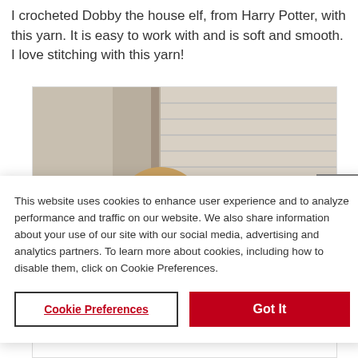I crocheted Dobby the house elf, from Harry Potter, with this yarn. It is easy to work with and is soft and smooth. I love stitching with this yarn!
[Figure (photo): A crocheted Dobby the house elf figure peeking from behind a wall or door, showing large eyes and beige/tan yarn texture, with a door/garage in the background.]
This website uses cookies to enhance user experience and to analyze performance and traffic on our website. We also share information about your use of our site with our social media, advertising and analytics partners. To learn more about cookies, including how to disable them, click on Cookie Preferences.